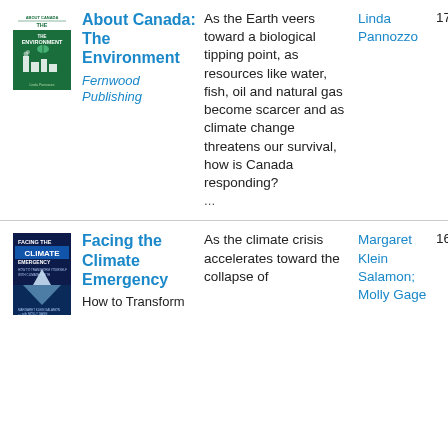[Figure (illustration): Book cover: About Canada: The Environment by Linda Pannozzo, Fernwood Publishing. Green cover with factory/environment graphic.]
About Canada: The Environment
Fernwood Publishing
As the Earth veers toward a biological tipping point, as resources like water, fish, oil and natural gas become scarcer and as climate change threatens our survival, how is Canada responding? ...
Linda Pannozzo
176
[Figure (illustration): Book cover: Facing the Climate Emergency by Margaret Klein Salamon and Molly Gage. Dark blue cover with iceberg graphic.]
Facing the Climate Emergency
How to Transform
As the climate crisis accelerates toward the collapse of
Margaret Klein Salamon; Molly Gage
162